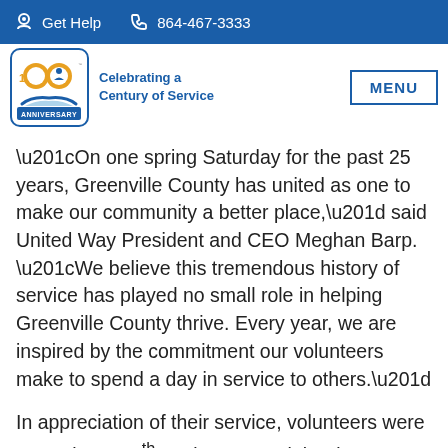Get Help  864-467-3333
[Figure (logo): United Way 100th Anniversary logo — Celebrating a Century of Service]
more than $435,000 given back to the
“On one spring Saturday for the past 25 years, Greenville County has united as one to make our community a better place,” said United Way President and CEO Meghan Barp. “We believe this tremendous history of service has played no small role in helping Greenville County thrive. Every year, we are inspired by the commitment our volunteers make to spend a day in service to others.”
In appreciation of their service, volunteers were treated to a 25th anniversary celebration at Fluor Field Saturday afternoon. Companies and organizations with the largest volunteer teams were recognized in